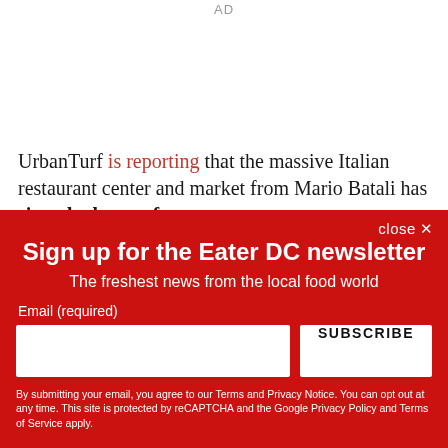AD
UrbanTurf is reporting that the massive Italian restaurant center and market from Mario Batali has signed a letter of
Sign up for the Eater DC newsletter
The freshest news from the local food world
Email (required)
SUBSCRIBE
By submitting your email, you agree to our Terms and Privacy Notice. You can opt out at any time. This site is protected by reCAPTCHA and the Google Privacy Policy and Terms of Service apply.
close ✕